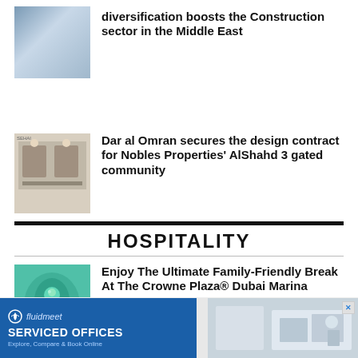[Figure (photo): Building exterior with glass facade]
diversification boosts the Construction sector in the Middle East
[Figure (photo): People in a meeting room signing documents]
Dar al Omran secures the design contract for Nobles Properties' AlShahd 3 gated community
HOSPITALITY
[Figure (photo): Water slide with tropical design]
Enjoy The Ultimate Family-Friendly Break At The Crowne Plaza® Dubai Marina
[Figure (photo): Interior venue photo partially visible]
irati
[Figure (screenshot): Fluidmeet Serviced Offices advertisement banner]